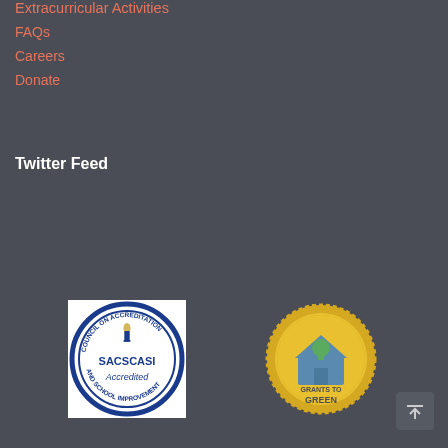Extracurricular Activities
FAQs
Careers
Donate
Twitter Feed
[Figure (logo): SACS CASI Council on Accreditation and School Improvement - Accredited seal badge]
[Figure (logo): Grants to Green badge with house and tree icon]